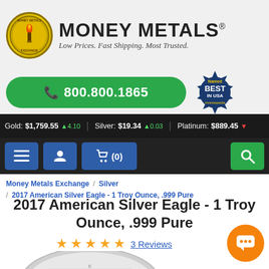[Figure (logo): Money Metals Exchange logo with torch and circular gold emblem, brand name 'MONEY METALS' with tagline 'Low Prices. Fast Shipping. Most Trusted.']
800.800.1865
[Figure (logo): Named Best in USA - Investopedia badge]
Gold: $1,759.55 ▲4.10   Silver: $19.34 ▲0.03   Platinum: $889.45 ▼
[Figure (screenshot): Navigation bar with hamburger menu, user icon, cart (0), and search button]
Money Metals Exchange / Silver / 2017 American Silver Eagle - 1 Troy Ounce, .999 Pure
2017 American Silver Eagle - 1 Troy Ounce, .999 Pure
★★★★★ 3 Reviews
[Figure (photo): Partial view of 2017 American Silver Eagle coin]